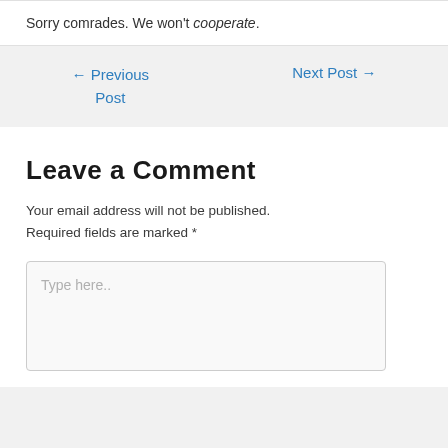Sorry comrades. We won't cooperate.
← Previous Post
Next Post →
Leave a Comment
Your email address will not be published. Required fields are marked *
Type here..